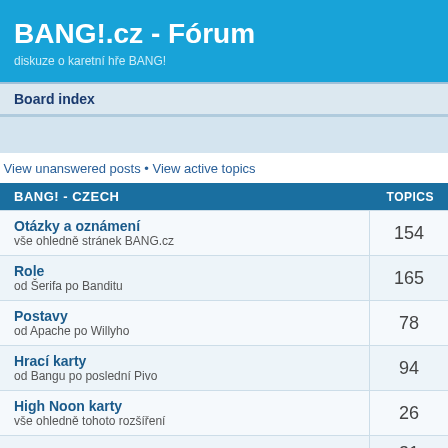BANG!.cz - Fórum
diskuze o karetní hře BANG!
Board index
View unanswered posts • View active topics
| BANG! - CZECH | TOPICS |
| --- | --- |
| Otázky a oznámení
vše ohledně stránek BANG.cz | 154 |
| Role
od Šerifa po Banditu | 165 |
| Postavy
od Apache po Willyho | 78 |
| Hrací karty
od Bangu po poslední Pivo | 94 |
| High Noon karty
vše ohledně tohoto rozšíření | 26 |
| A Fistful of Cards karty | 31 |